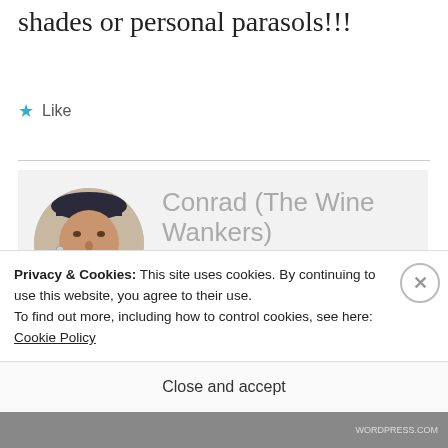shades or personal parasols!!!
★ Like
REPLY
[Figure (photo): Circular avatar photo of a man with a handlebar mustache wearing a dark cap and military-style jacket with decorative silver jewelry]
Conrad (The Wine Wankers)
MARCH 22, 2014 AT 1:04 AM
Privacy & Cookies: This site uses cookies. By continuing to use this website, you agree to their use.
To find out more, including how to control cookies, see here: Cookie Policy
Close and accept